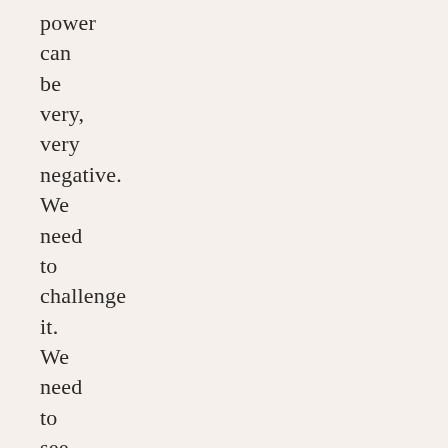power can be very, very negative. We need to challenge it. We need to see a way to engage religious actors so